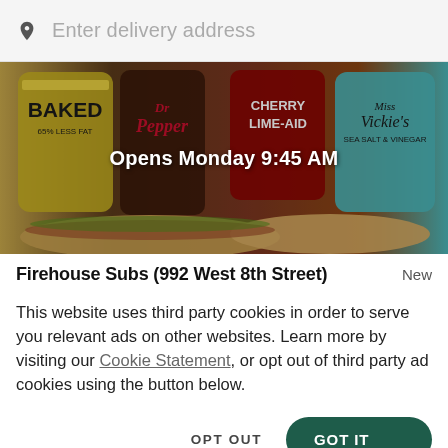Enter delivery address
[Figure (photo): Food delivery app restaurant banner showing Lays Baked chips, Dr Pepper, Cherry Limeade, Miss Vickie's chips and sandwiches with overlay text 'Opens Monday 9:45 AM']
Opens Monday 9:45 AM
Firehouse Subs (992 West 8th Street)
New
This website uses third party cookies in order to serve you relevant ads on other websites. Learn more by visiting our Cookie Statement, or opt out of third party ad cookies using the button below.
OPT OUT
GOT IT